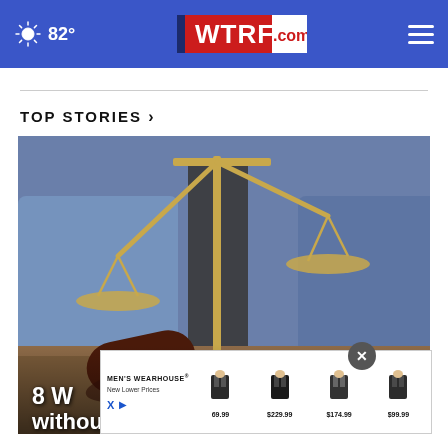82° WTRF.com
TOP STORIES ›
[Figure (photo): Close-up photo of a judge's gavel and gold scales of justice on a dark wooden surface with blurred blue background]
8 W... without realizing...
[Figure (other): Men's Wearhouse advertisement showing suits at prices 69.99, $229.99, $174.99, $99.99 with New Lower Prices tagline]